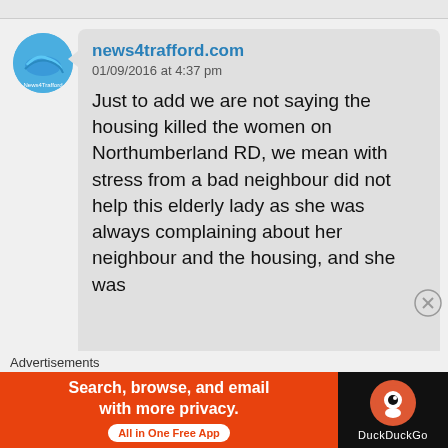[Figure (screenshot): Screenshot of a social media or news comment thread showing a message from news4trafford.com]
news4trafford.com
01/09/2016 at 4:37 pm
Just to add we are not saying the housing killed the women on Northumberland RD, we mean with stress from a bad neighbour did not help this elderly lady as she was always complaining about her neighbour and the housing, and she was
Advertisements
[Figure (screenshot): DuckDuckGo advertisement banner: Search, browse, and email with more privacy. All in One Free App. DuckDuckGo logo on dark background.]